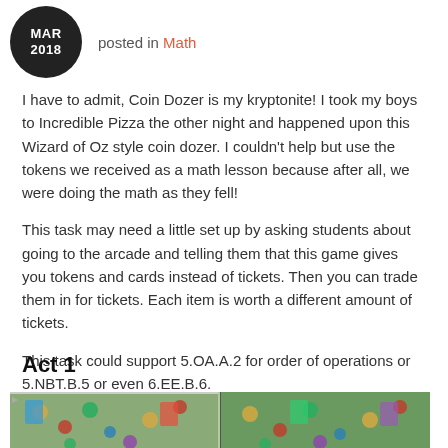MAR 2018 posted in Math
I have to admit, Coin Dozer is my kryptonite!  I took my boys to Incredible Pizza the other night and happened upon this Wizard of Oz style coin dozer.  I couldn't help but use the tokens we received as a math lesson because after all, we were doing the math as they fell!
This task may need a little set up by asking students about going to the arcade and telling them that this game gives you tokens and cards instead of tickets.  Then you can trade them in for tickets.  Each item is worth a different amount of tickets.
This task could support 5.OA.A.2 for order of operations or 5.NBT.B.5 or even 6.EE.B.6.
Act 1
[Figure (photo): Photo of a Wizard of Oz style coin dozer machine at an arcade, showing colorful tokens and cards on the playfield.]